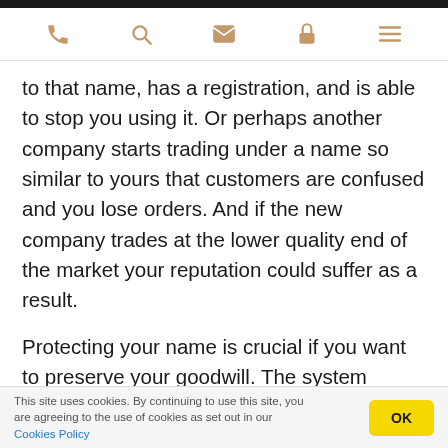Navigation bar with phone, search, mail, lock, and menu icons
to that name, has a registration, and is able to stop you using it. Or perhaps another company starts trading under a name so similar to yours that customers are confused and you lose orders. And if the new company trades at the lower quality end of the market your reputation could suffer as a result.
Protecting your name is crucial if you want to preserve your goodwill. The system allowing you to do this is Trademark Registration. Trademarks
This site uses cookies. By continuing to use this site, you are agreeing to the use of cookies as set out in our Cookies Policy  OK